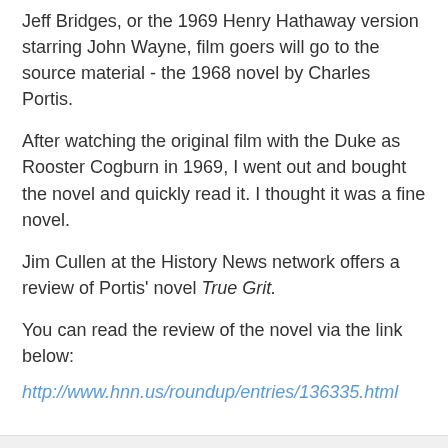Jeff Bridges, or the 1969 Henry Hathaway version starring John Wayne, film goers will go to the source material - the 1968 novel by Charles Portis.
After watching the original film with the Duke as Rooster Cogburn in 1969, I went out and bought the novel and quickly read it. I thought it was a fine novel.
Jim Cullen at the History News network offers a review of Portis' novel True Grit.
You can read the review of the novel via the link below:
http://www.hnn.us/roundup/entries/136335.html
Paul Davis at 1:55 PM   No comments:
USS Bulkeley Crew Frees Ship Seized By Pirates